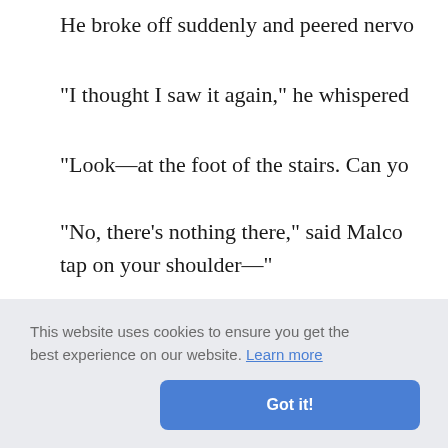He broke off suddenly and peered nervo
"I thought I saw it again," he whispered
"Look—at the foot of the stairs. Can yo
"No, there's nothing there," said Malco tap on your shoulder—"
"I turned round and saw it—a little wick
"That's what I saw in the bar," said Geo
ning his n
le thing," e to this h
ge. "I wo
fifty pounds!"
This website uses cookies to ensure you get the best experience on our website. Learn more
Got it!